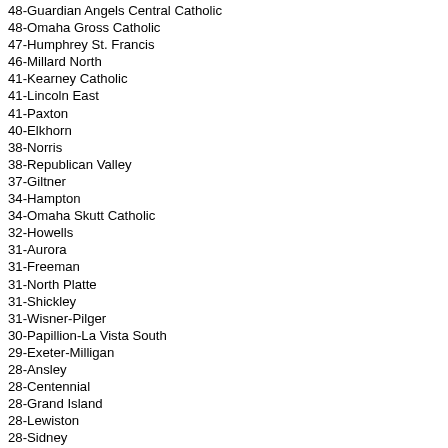48-Guardian Angels Central Catholic
48-Omaha Gross Catholic
47-Humphrey St. Francis
46-Millard North
41-Kearney Catholic
41-Lincoln East
41-Paxton
40-Elkhorn
38-Norris
38-Republican Valley
37-Giltner
34-Hampton
34-Omaha Skutt Catholic
32-Howells
31-Aurora
31-Freeman
31-North Platte
31-Shickley
31-Wisner-Pilger
30-Papillion-La Vista South
29-Exeter-Milligan
28-Ansley
28-Centennial
28-Grand Island
28-Lewiston
28-Sidney
28-Waverly
26-Hartington Cedar Catholic
26-Mead
25-Lincoln Lutheran